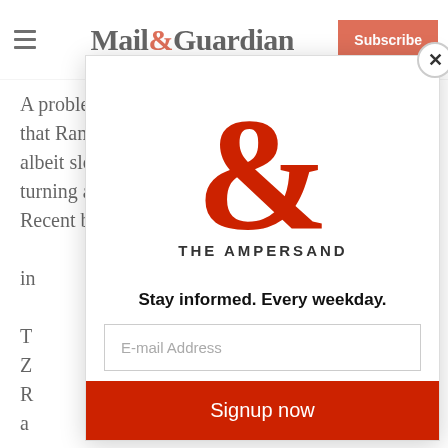Mail&Guardian — Subscribe
A problem for the EFF and the Zuma faction is that Ramaphosa continues to make progress — albeit slowly — in both cleaning up the state and turning around the ANC’s electoral fortunes. Recent by-elections show the ANC improving. Zuma/RET forces are making more noise, and more...
[Figure (logo): The Ampersand newsletter logo — large red ampersand symbol with 'THE AMPERSAND' text]
Stay informed. Every weekday.
E-mail Address
Signup now